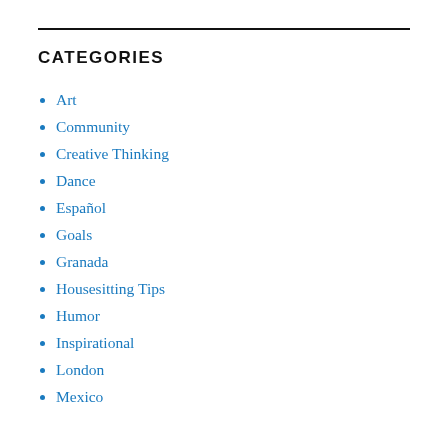CATEGORIES
Art
Community
Creative Thinking
Dance
Español
Goals
Granada
Housesitting Tips
Humor
Inspirational
London
Mexico